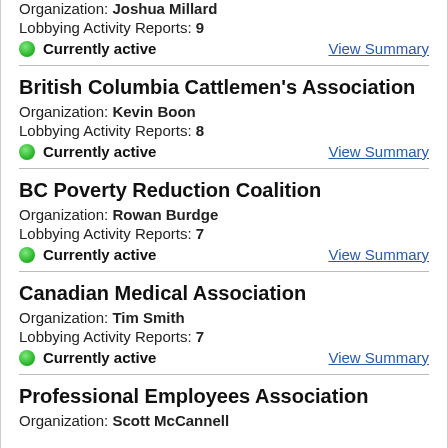Organization: Joshua Millard
Lobbying Activity Reports: 9
Currently active
View Summary
British Columbia Cattlemen's Association
Organization: Kevin Boon
Lobbying Activity Reports: 8
Currently active
View Summary
BC Poverty Reduction Coalition
Organization: Rowan Burdge
Lobbying Activity Reports: 7
Currently active
View Summary
Canadian Medical Association
Organization: Tim Smith
Lobbying Activity Reports: 7
Currently active
View Summary
Professional Employees Association
Organization: Scott McCannell